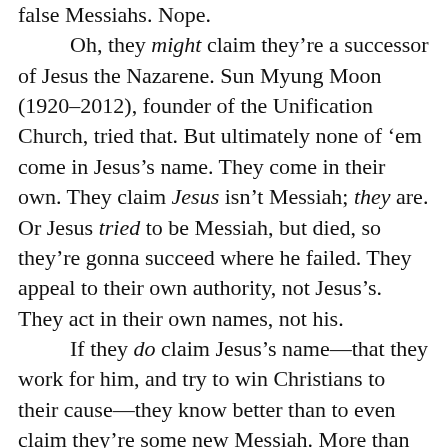false Messiahs. Nope.

Oh, they might claim they're a successor of Jesus the Nazarene. Sun Myung Moon (1920–2012), founder of the Unification Church, tried that. But ultimately none of 'em come in Jesus's name. They come in their own. They claim Jesus isn't Messiah; they are. Or Jesus tried to be Messiah, but died, so they're gonna succeed where he failed. They appeal to their own authority, not Jesus's. They act in their own names, not his.

If they do claim Jesus's name—that they work for him, and try to win Christians to their cause—they know better than to even claim they're some new Messiah. More than likely they've read the Olivet Discourse and